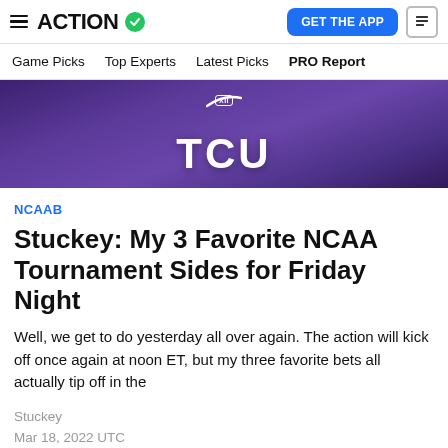ACTION  Game Picks  Top Experts  Latest Picks  PRO Report
[Figure (photo): Basketball player wearing purple TCU jersey with Big 12 logo and Nike swoosh]
NCAAB
Stuckey: My 3 Favorite NCAA Tournament Sides for Friday Night
Well, we get to do yesterday all over again. The action will kick off once again at noon ET, but my three favorite bets all actually tip off in the
Stuckey
Mar 18, 2022 UTC